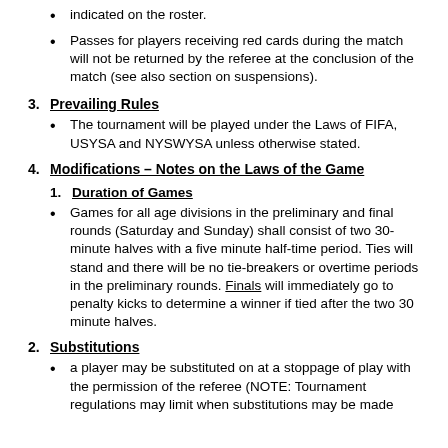indicated on the roster.
Passes for players receiving red cards during the match will not be returned by the referee at the conclusion of the match (see also section on suspensions).
3. Prevailing Rules
The tournament will be played under the Laws of FIFA, USYSA and NYSWYSA unless otherwise stated.
4. Modifications – Notes on the Laws of the Game
1. Duration of Games
Games for all age divisions in the preliminary and final rounds (Saturday and Sunday) shall consist of two 30-minute halves with a five minute half-time period. Ties will stand and there will be no tie-breakers or overtime periods in the preliminary rounds. Finals will immediately go to penalty kicks to determine a winner if tied after the two 30 minute halves.
2. Substitutions
a player may be substituted on at a stoppage of play with the permission of the referee (NOTE: Tournament regulations may limit when substitutions may be made